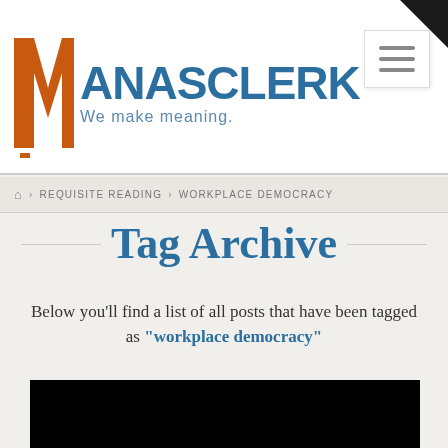MANASCLERK - We make meaning.
Home > REQUISITE READING > WORKPLACE DEMOCRACY
Tag Archive
Below you'll find a list of all posts that have been tagged as "workplace democracy"
[Figure (photo): Black image area at the bottom of the page]